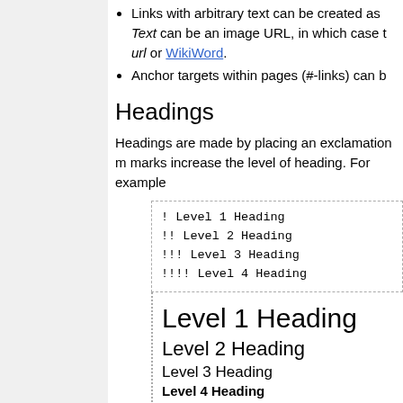Links with arbitrary text can be created as Text can be an image URL, in which case url or WikiWord.
Anchor targets within pages (#-links) can b
Headings
Headings are made by placing an exclamation m marks increase the level of heading. For example
! Level 1 Heading
!! Level 2 Heading
!!! Level 3 Heading
!!!! Level 4 Heading
Level 1 Heading
Level 2 Heading
Level 3 Heading
Level 4 Heading